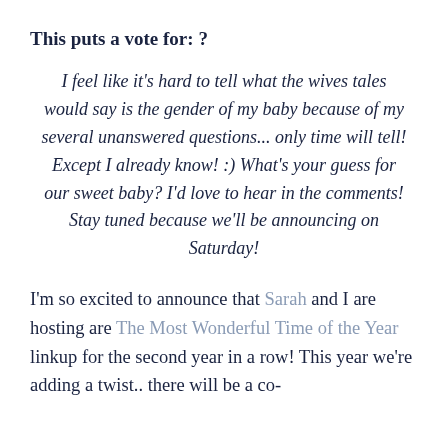This puts a vote for: ?
I feel like it's hard to tell what the wives tales would say is the gender of my baby because of my several unanswered questions... only time will tell! Except I already know! :) What's your guess for our sweet baby? I'd love to hear in the comments! Stay tuned because we'll be announcing on Saturday!
I'm so excited to announce that Sarah and I are hosting are The Most Wonderful Time of the Year linkup for the second year in a row! This year we're adding a twist.. there will be a co-